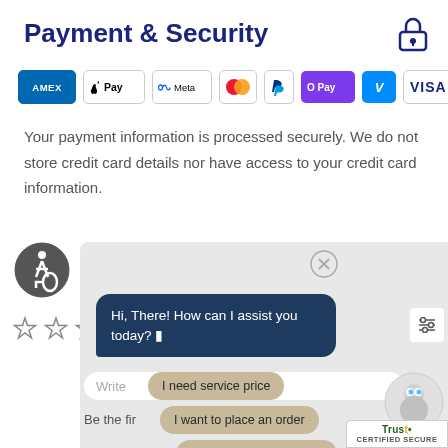Payment & Security
[Figure (logo): Lock/security icon in dark blue]
[Figure (infographic): Row of payment method logos: AMEX, Apple Pay, Meta Pay, Mastercard, PayPal, O Pay, Venmo, VISA]
Your payment information is processed securely. We do not store credit card details nor have access to your credit card information.
[Figure (illustration): Accessibility icon - person in wheelchair in dark circle]
[Figure (illustration): Five empty star rating icons]
[Figure (screenshot): Chat widget overlay showing bot message 'Hi, There! How can I assist you today?' with suggestion pills: 'I need service price', 'I want to place an order', 'I need shipping address']
[Figure (logo): TrustMark CERTIFIED SECURE badge at bottom right]